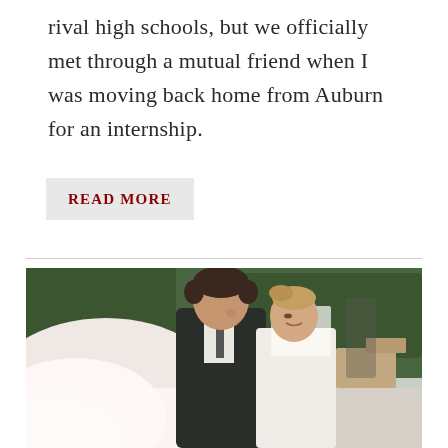rival high schools, but we officially met through a mutual friend when I was moving back home from Auburn for an internship.
READ MORE
[Figure (photo): A bride and groom in an outdoor setting, facing each other closely with noses nearly touching. The groom wears a dark suit, the bride has her hair up and wears a veil which billows in the foreground. Green hedges and stone planters are visible in the background.]